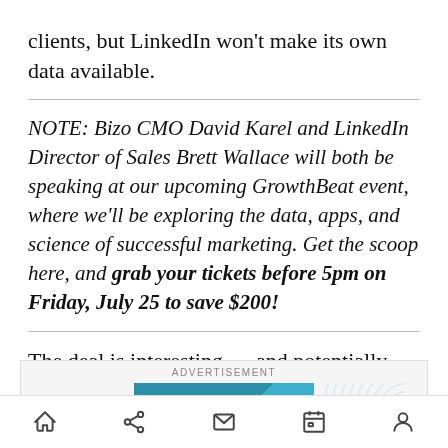clients, but LinkedIn won't make its own data available.
NOTE: Bizo CMO David Karel and LinkedIn Director of Sales Brett Wallace will both be speaking at our upcoming GrowthBeat event, where we'll be exploring the data, apps, and science of successful marketing. Get the scoop here, and grab your tickets before 5pm on Friday, July 25 to save $200!
The deal is interesting — and potentially problematic — on multiple levels.
[Figure (other): Advertisement banner showing Appen company logo on a teal/blue background with a circular pattern design on the right side.]